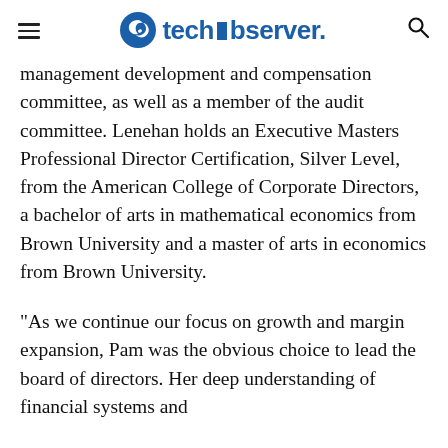techobserver.
management development and compensation committee, as well as a member of the audit committee. Lenehan holds an Executive Masters Professional Director Certification, Silver Level, from the American College of Corporate Directors, a bachelor of arts in mathematical economics from Brown University and a master of arts in economics from Brown University.
“As we continue our focus on growth and margin expansion, Pam was the obvious choice to lead the board of directors. Her deep understanding of financial systems and